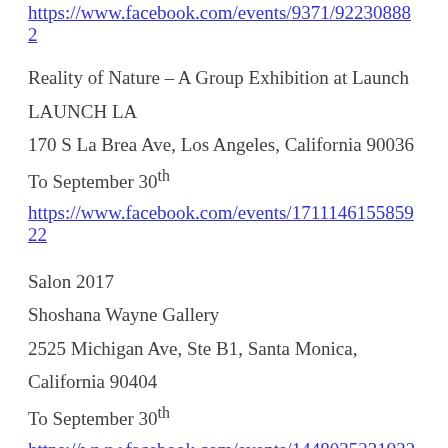https://www.facebook.com/events/9371/92230882...
Reality of Nature – A Group Exhibition at Launch
LAUNCH LA
170 S La Brea Ave, Los Angeles, California 90036
To September 30th
https://www.facebook.com/events/17111461558592...
Salon 2017
Shoshana Wayne Gallery
2525 Michigan Ave, Ste B1, Santa Monica,
California 90404
To September 30th
https://www.facebook.com/events/14480352319322...